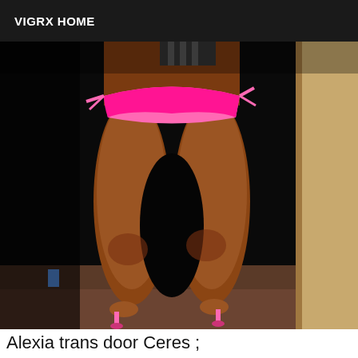VIGRX HOME
[Figure (photo): Photo of a person from behind wearing a pink bikini bottom and pink heels, standing in a dimly lit room near a door.]
Alexia trans door Ceres ;